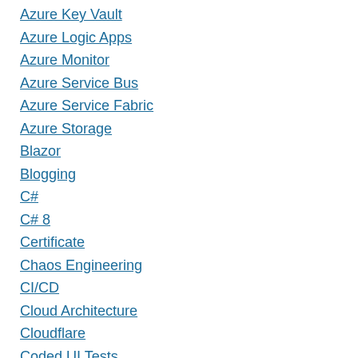Azure Key Vault
Azure Logic Apps
Azure Monitor
Azure Service Bus
Azure Service Fabric
Azure Storage
Blazor
Blogging
C#
C# 8
Certificate
Chaos Engineering
CI/CD
Cloud Architecture
Cloudflare
Coded UI Tests
Compiler Errors
Conference
Configuration